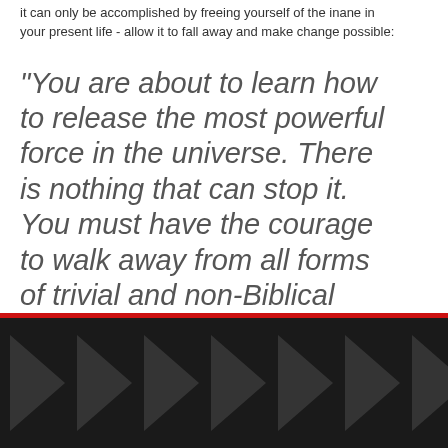it can only be accomplished by freeing yourself of the inane in your present life - allow it to fall away and make change possible:
"You are about to learn how to release the most powerful force in the universe. There is nothing that can stop it. You must have the courage to walk away from all forms of trivial and non-Biblical religion. When the Apostle Paul said 'For the Kingdom of God is not a matter of talk, but of power' he was clearly explaining this principle. It is your job to release the power of the Kingdom of God on Earth. This does not
[Figure (illustration): Dark footer bar with repeating rightward-pointing triangle/arrow shapes in dark grey against black background, with a red horizontal line above the bar.]